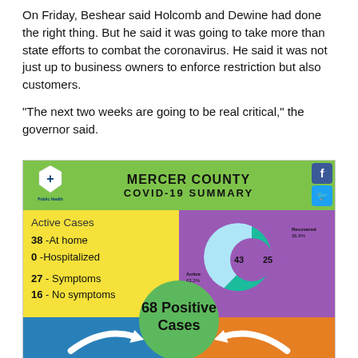On Friday, Beshear said Holcomb and Dewine had done the right thing. But he said it was going to take more than state efforts to combat the coronavirus. He said it was not just up to business owners to enforce restriction but also customers.
“The next two weeks are going to be real critical,” the governor said.
[Figure (infographic): Mercer County COVID-19 Summary infographic showing Active Cases (38 at home, 0 Hospitalized, 27 Symptoms, 16 No symptoms), a donut chart showing Active (43, 63.2%) vs Recovered (25, 36.8%), and 68 Positive Cases total with arrows pointing to the center green circle, with color panels yellow, purple, blue, and orange.]